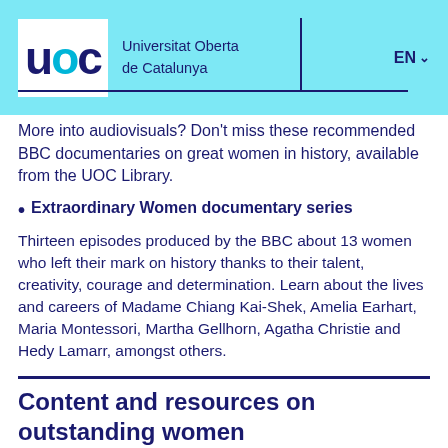Universitat Oberta de Catalunya | EN
More into audiovisuals? Don't miss these recommended BBC documentaries on great women in history, available from the UOC Library.
Extraordinary Women documentary series
Thirteen episodes produced by the BBC about 13 women who left their mark on history thanks to their talent, creativity, courage and determination. Learn about the lives and careers of Madame Chiang Kai-Shek, Amelia Earhart, Maria Montessori, Martha Gellhorn, Agatha Christie and Hedy Lamarr, amongst others.
Content and resources on outstanding women